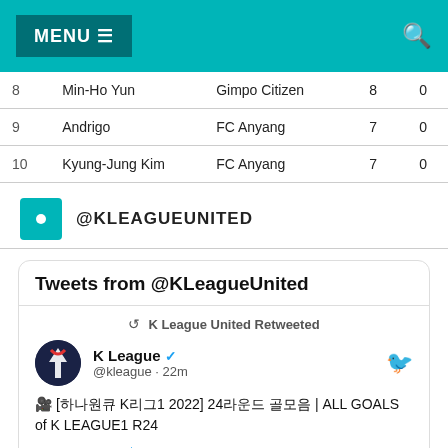MENU ☰
| # | Name | Club | G | A |
| --- | --- | --- | --- | --- |
| 8 | Min-Ho Yun | Gimpo Citizen | 8 | 0 |
| 9 | Andrigo | FC Anyang | 7 | 0 |
| 10 | Kyung-Jung Kim | FC Anyang | 7 | 0 |
@KLEAGUEUNITED
[Figure (screenshot): Twitter widget showing tweets from @KLeagueUnited. Shows a retweet by K League (@kleague, 22m ago) with text about ALL GOALS of K LEAGUE1 R24 and hashtags #KLeague | #K리그]
Tweets from @KLeagueUnited
K League United Retweeted
K League @kleague · 22m
[하나원큐 K리그1 2022] 24라운드 골모음 | ALL GOALS of K LEAGUE1 R24
#KLeague | #K리그